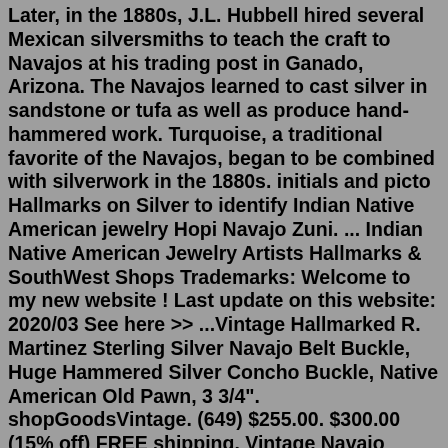Later, in the 1880s, J.L. Hubbell hired several Mexican silversmiths to teach the craft to Navajos at his trading post in Ganado, Arizona. The Navajos learned to cast silver in sandstone or tufa as well as produce hand-hammered work. Turquoise, a traditional favorite of the Navajos, began to be combined with silverwork in the 1880s. initials and picto Hallmarks on Silver to identify Indian Native American jewelry Hopi Navajo Zuni. ... Indian Native American Jewelry Artists Hallmarks & SouthWest Shops Trademarks: Welcome to my new website ! Last update on this website: 2020/03 See here >> ...Vintage Hallmarked R. Martinez Sterling Silver Navajo Belt Buckle, Huge Hammered Silver Concho Buckle, Native American Old Pawn, 3 3/4". shopGoodsVintage. (649) $255.00. $300.00 (15% off) FREE shipping. Vintage Navajo Native American Sterling Silver and White Buffalo Turquoise Petit Point Open Cuff 7 Inch Bracelet. PB Sterling Hallmark. Later, in the 1880s, J.L. Hubbell hired several Mexican silversmiths to teach the craft to